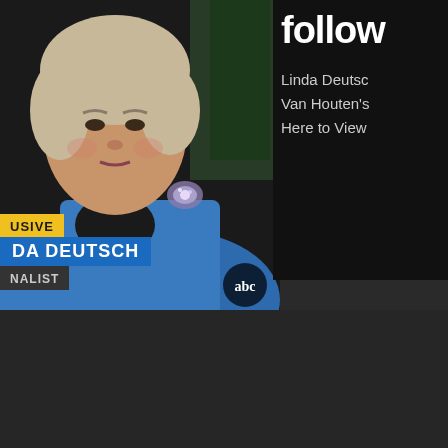[Figure (screenshot): TV news screenshot showing woman in blue jacket with butterfly brooch, lower-third chyron reading 'EXCLUSIVE / DA DEUTSCH / NALIST' on ABC News. Right side shows partial text 'follow', 'Linda Deutsch', 'Van Houten's', 'Here to View'. Lower portion shows dark background with watermark logos including news agency watermarks.]